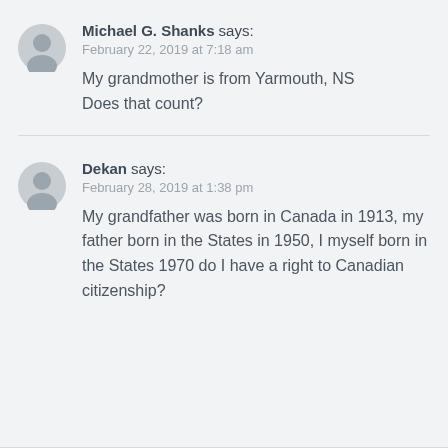Michael G. Shanks says:
February 22, 2019 at 7:18 am
My grandmother is from Yarmouth, NS
Does that count?
Dekan says:
February 28, 2019 at 1:38 pm
My grandfather was born in Canada in 1913, my father born in the States in 1950, I myself born in the States 1970 do I have a right to Canadian citizenship?